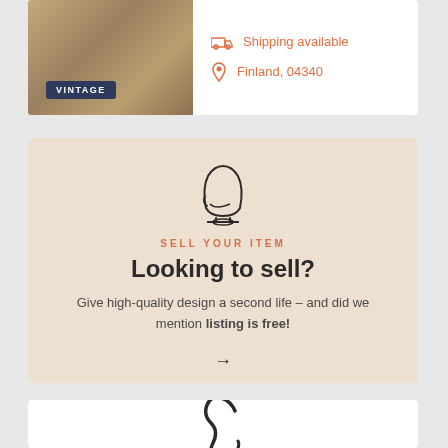[Figure (photo): Product image of a vintage lamp with cord on beige/brown background, with a dark navy badge reading VINTAGE]
Shipping available
Finland, 04340
SELL YOUR ITEM
Looking to sell?
Give high-quality design a second life – and did we mention listing is free!
[Figure (logo): Partial F logo at bottom, styled as a script/serif letter F with decorative stroke]